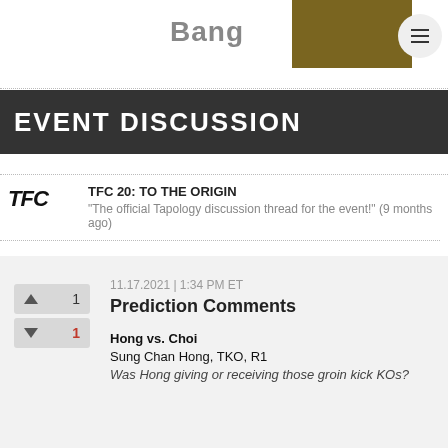Bang
EVENT DISCUSSION
TFC 20: TO THE ORIGIN
"The official Tapology discussion thread for the event!" (9 months ago)
11.17.2021 | 1:34 PM ET
Prediction Comments
Hong vs. Choi
Sung Chan Hong, TKO, R1
Was Hong giving or receiving those groin kick KOs?